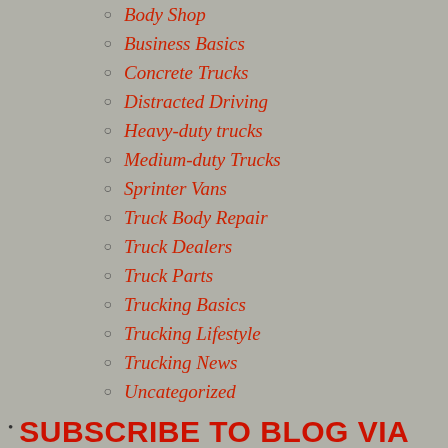Body Shop
Business Basics
Concrete Trucks
Distracted Driving
Heavy-duty trucks
Medium-duty Trucks
Sprinter Vans
Truck Body Repair
Truck Dealers
Truck Parts
Trucking Basics
Trucking Lifestyle
Trucking News
Uncategorized
SUBSCRIBE TO BLOG VIA EMAIL
Enter your email address to subscribe to this blog and receive notifications of new posts by email.